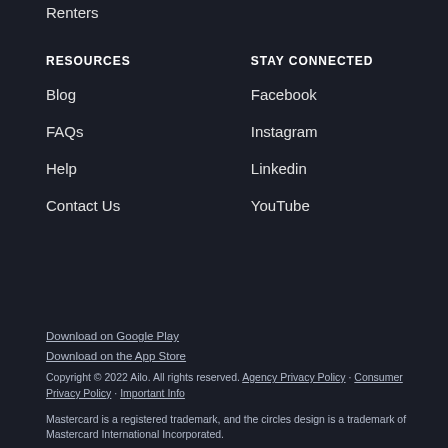Renters
RESOURCES
STAY CONNECTED
Blog
Facebook
FAQs
Instagram
Help
Linkedin
Contact Us
YouTube
Download on Google Play
Download on the App Store
Copyright © 2022 Ailo. All rights reserved. Agency Privacy Policy · Consumer Privacy Policy · Important Info
Mastercard is a registered trademark, and the circles design is a trademark of Mastercard International Incorporated.